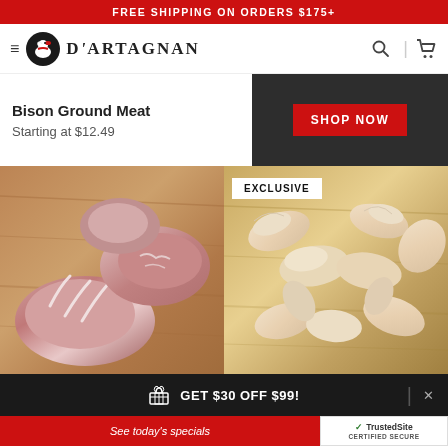FREE SHIPPING ON ORDERS $175+
[Figure (logo): D'Artagnan logo with navigation bar including hamburger menu, circular duck logo, brand name, search icon and cart icon]
Bison Ground Meat
Starting at $12.49
[Figure (photo): SHOP NOW button on dark background]
[Figure (photo): Raw beef/lamb ribs on wooden cutting board]
[Figure (photo): Raw chicken wings on wooden cutting board with EXCLUSIVE badge]
GET $30 OFF $99!
See today's specials
TrustedSite CERTIFIED SECURE